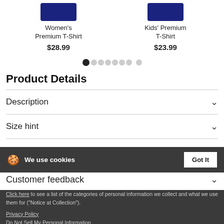[Figure (illustration): Two product cards: Women's Premium T-Shirt ($28.99) and Kids' Premium T-Shirt ($23.99) with navy blue shirt images]
[Figure (other): Carousel pagination dots, 8 total with first dot filled/active]
Product Details
Description
Size hint
Product Views
We use cookies
Customer feedback
Click here to see a list of the categories of personal information we collect and what we use them for ("Notice at Collection").
Privacy Policy
Do Not Sell My Personal Information
By using this website, I agree to the Terms and Conditions